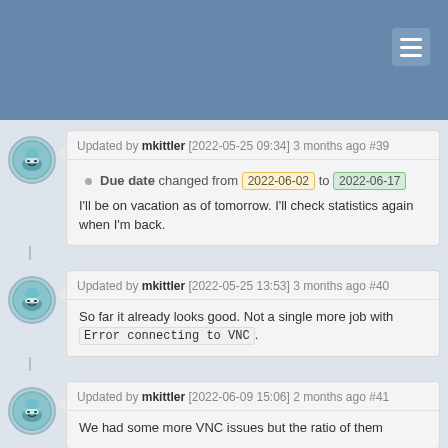Updated by mkittler [2022-05-25 09:34] 3 months ago #39
Due date changed from 2022-06-02 to 2022-06-17
I'll be on vacation as of tomorrow. I'll check statistics again when I'm back.
Updated by mkittler [2022-05-25 13:53] 3 months ago #40
So far it already looks good. Not a single more job with Error connecting to VNC.
Updated by mkittler [2022-06-09 15:06] 2 months ago #41
We had some more VNC issues but the ratio of them